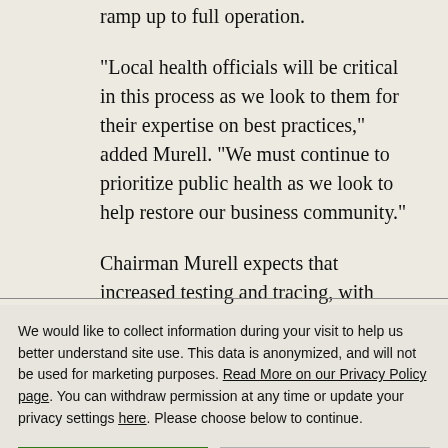ramp up to full operation.
“Local health officials will be critical in this process as we look to them for their expertise on best practices,” added Murell. “We must continue to prioritize public health as we look to help restore our business community.”
Chairman Murell expects that increased testing and tracing, with business
We would like to collect information during your visit to help us better understand site use. This data is anonymized, and will not be used for marketing purposes. Read More on our Privacy Policy page. You can withdraw permission at any time or update your privacy settings here. Please choose below to continue.